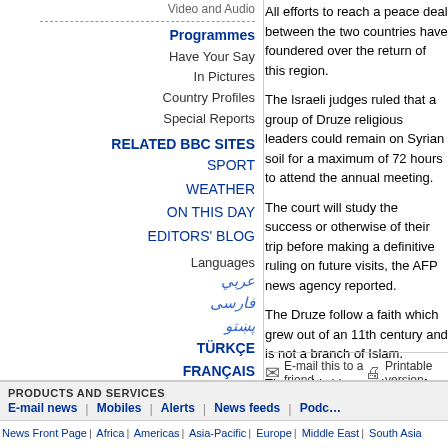Video and Audio
Programmes
Have Your Say
In Pictures
Country Profiles
Special Reports
RELATED BBC SITES
SPORT
WEATHER
ON THIS DAY
EDITORS' BLOG
Languages
عربي
فارسی
پښتو
TÜRKÇE
FRANÇAIS
MORE >
All efforts to reach a peace deal between the two countries have foundered over the return of this region.
The Israeli judges ruled that a group of Druze religious leaders could remain on Syrian soil for a maximum of 72 hours to attend the annual meeting.
The court will study the success or otherwise of their trip before making a definitive ruling on future visits, the AFP news agency reported.
The Druze follow a faith which grew out of an 11th century and is not a branch of Islam.
The worldwide population of Druze is put at up to one million, with most living in mountainous regions in Syria, Lebanon, Jordan and Israel.
They are the only Arabs, apart from Bedouin, who serve in the Israeli army.
E-mail this to a friend
Printable version
PRODUCTS AND SERVICES
E-mail news | Mobiles | Alerts | News feeds | Podcasts
News Front Page | Africa | Americas | Asia-Pacific | Europe | Middle East | South Asia | UK | Business | Entertainment | Science/Nature | Technology | Health | Have Your Say | In Pictures | Week at a Glance | Country Profiles | In Depth | Programmes
BBC MMIX